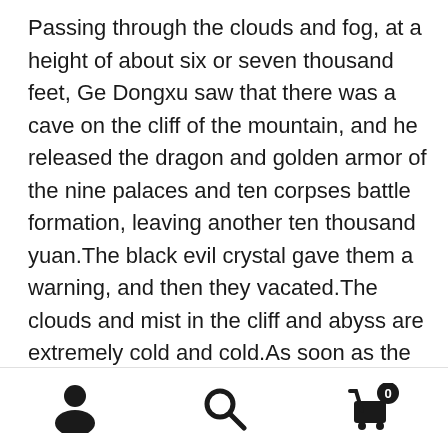Passing through the clouds and fog, at a height of about six or seven thousand feet, Ge Dongxu saw that there was a cave on the cliff of the mountain, and he released the dragon and golden armor of the nine palaces and ten corpses battle formation, leaving another ten thousand yuan.The black evil crystal gave them a warning, and then they vacated.The clouds and mist in the cliff and abyss are extremely cold and cold.As soon as the dragons and golden armors are stiff, they enter the cave, and the faint cold air emanating from their bodies merges with the surroundings, unless there is a top level golden core cultivator deliberately carefully Scan, otherwise it would be difficult to notice that there are still ten golden armors hidden in a cave somewhere in this cliff abyss.Standing on
[person icon] [search icon] [cart icon with badge 0]